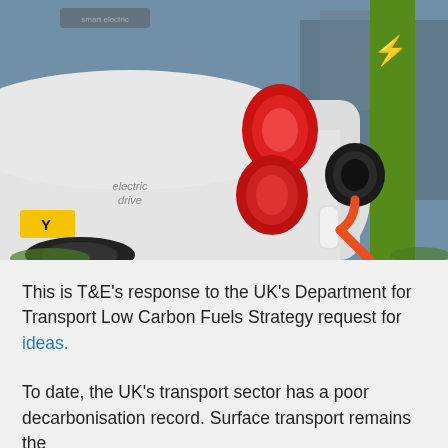[Figure (photo): Close-up photograph of a white Smart electric drive car being charged with an orange EV charging cable plugged into the charging port. A green stripe is visible on the car. The car has a yellow UK license plate showing 'Y'. Red tail lights are visible. The scene is outdoors.]
This is T&E's response to the UK's Department for Transport Low Carbon Fuels Strategy request for ideas.
To date, the UK's transport sector has a poor decarbonisation record. Surface transport remains the